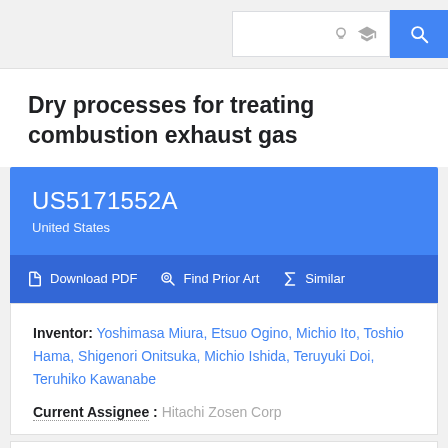Dry processes for treating combustion exhaust gas
US5171552A
United States
Download PDF  Find Prior Art  Similar
Inventor: Yoshimasa Miura, Etsuo Ogino, Michio Ito, Toshio Hama, Shigenori Onitsuka, Michio Ishida, Teruyuki Doi, Teruhiko Kawanabe
Current Assignee : Hitachi Zosen Corp
Worldwide applications